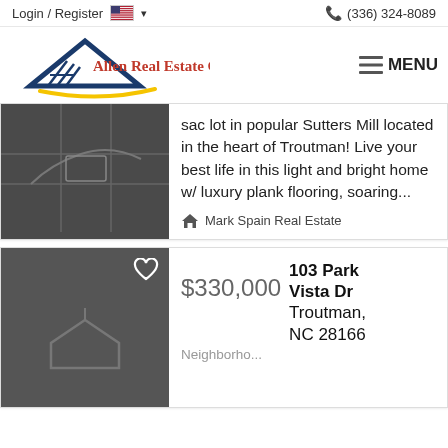Login / Register  🇺🇸 ▾   📞 (336) 324-8089
[Figure (logo): Allen Real Estate Group logo with blue roof/letter A graphic and yellow swoosh]
sac lot in popular Sutters Mill located in the heart of Troutman! Live your best life in this light and bright home w/ luxury plank flooring, soaring...
Mark Spain Real Estate
[Figure (photo): Dark gray property thumbnail with heart/favorite icon]
$330,000   103 Park Vista Dr
Neighborho...   Troutman, NC 28166